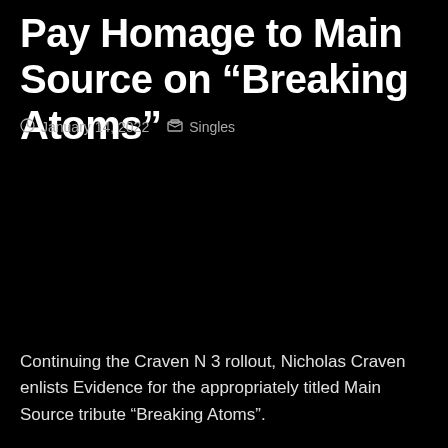Pay Homage to Main Source on “Breaking Atoms”
January 14, 2022   Singles
Continuing the Craven N 3 rollout, Nicholas Craven enlists Evidence for the appropriately titled Main Source tribute “Breaking Atoms”.